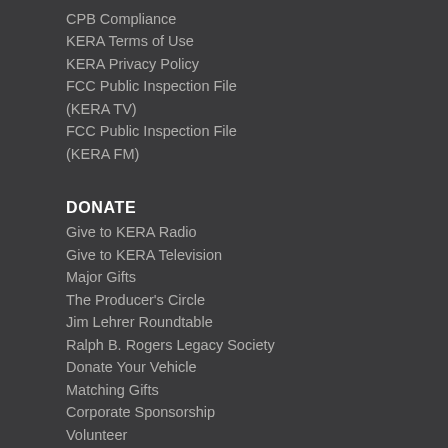CPB Compliance
KERA Terms of Use
KERA Privacy Policy
FCC Public Inspection File (KERA TV)
FCC Public Inspection File (KERA FM)
DONATE
Give to KERA Radio
Give to KERA Television
Major Gifts
The Producer's Circle
Jim Lehrer Roundtable
Ralph B. Rogers Legacy Society
Donate Your Vehicle
Matching Gifts
Corporate Sponsorship
Volunteer
Members Page
Update Sustainer Payment